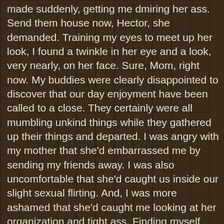made suddenly, getting me dmiring her ass. Send them house now, Hector, she demanded. Training my eyes to meet up her look, I found a twinkle in her eye and a look, very nearly, on her face. Sure, Mom, right now. My buddies were clearly disappointed to discover that our day enjoyment have been called to a close. They certainly were all mumbling unkind things while they gathered up their things and departed. I was angry with my mother that she'd embarrassed me by sending my friends away. I was also uncomfortable that she'd caught us inside our slight sexual flirting. And, I was more ashamed that she'd caught me looking at her organization and tight ass. Finding myself position alone at poolside, I decided to clean the pool. I truly only had Porn Free Live two jobs round the house. Keep my room clean and keep consitently the pool clear in between the weekly visits from the share guy. Not much time passed before Mother returned to poolside. To my surprise, along with her guide and tube of sun monitor, Mother was also carrying a glass of wine. She actually wasn't much of a drinker, a reaction to my father's overindulgence, I suppose. And, our wine cups were huge. Father sized, I guess. From particular experience, I realized you may fill a lot of wine into